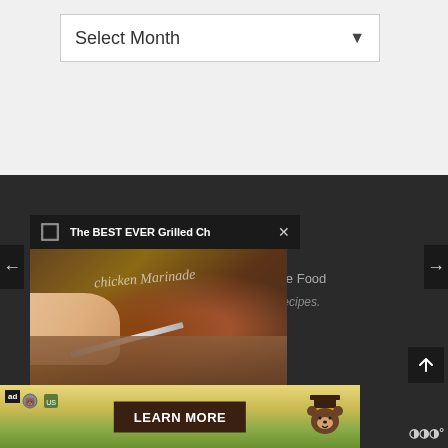Select Month
[Figure (screenshot): Website screenshot showing a month selector dropdown, a video popup with title 'The BEST EVER Grilled Ch', a thumbnail of grilled chicken on a cutting board, partial text 'avine Food' and 's Recipes.', a Smokey Bear 'Learn More' advertisement banner, and navigation arrows.]